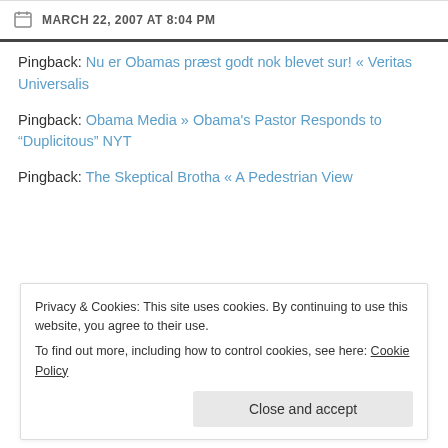MARCH 22, 2007 AT 8:04 PM
Pingback: Nu er Obamas præst godt nok blevet sur! « Veritas Universalis
Pingback: Obama Media » Obama's Pastor Responds to "Duplicitous" NYT
Pingback: The Skeptical Brotha « A Pedestrian View
Privacy & Cookies: This site uses cookies. By continuing to use this website, you agree to their use. To find out more, including how to control cookies, see here: Cookie Policy